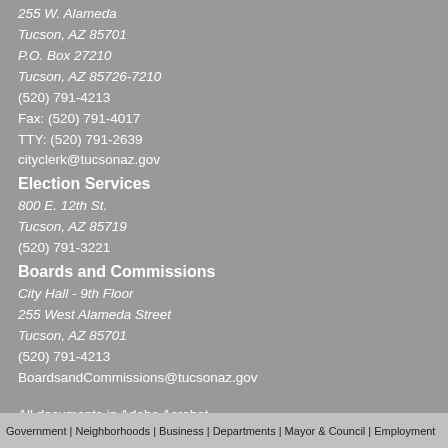255 W. Alameda
Tucson, AZ 85701
P.O. Box 27210
Tucson, AZ 85726-7210
(520) 791-4213
Fax: (520) 791-4017
TTY: (520) 791-2639
cityclerk@tucsonaz.gov
Election Services
800 E. 12th St.
Tucson, AZ 85719
(520) 791-3221
Boards and Commissions
City Hall - 9th Floor
255 West Alameda Street
Tucson, AZ 85701
(520) 791-4213
BoardsandCommissions@tucsonaz.gov
All documents in Adobe Acrobat
[Figure (logo): Get Adobe Reader badge with red Adobe logo on left and white background with 'Get ADOBE READER' text on right]
Government | Neighborhoods | Business | Departments | Mayor & Council | Employment